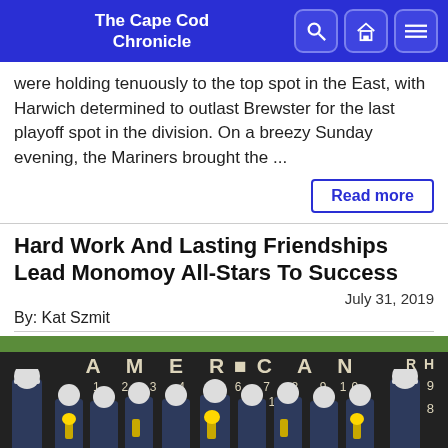The Cape Cod Chronicle
were holding tenuously to the top spot in the East, with Harwich determined to outlast Brewster for the last playoff spot in the division. On a breezy Sunday evening, the Mariners brought the ...
Read more
Hard Work And Lasting Friendships Lead Monomoy All-Stars To Success
July 31, 2019
By: Kat Szmit
[Figure (photo): Team photo of Monomoy All-Stars youth baseball team holding trophies in front of a scoreboard reading AMERICAN, with a green strip at top and scoreboard showing game numbers 1-10 with scores.]